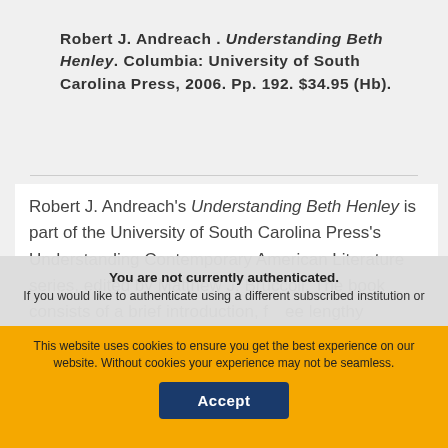Robert J. Andreach . Understanding Beth Henley. Columbia: University of South Carolina Press, 2006. Pp. 192. $34.95 (Hb).
Robert J. Andreach's Understanding Beth Henley is part of the University of South Carolina Press's Understanding Contemporary American Literature series, edited by Matthew J. Bruccoli. The book consists of a brief introduction, f[…]ee lengthy
You are not currently authenticated. If you would like to authenticate using a different subscribed institution or
This website uses cookies to ensure you get the best experience on our website. Without cookies your experience may not be seamless.